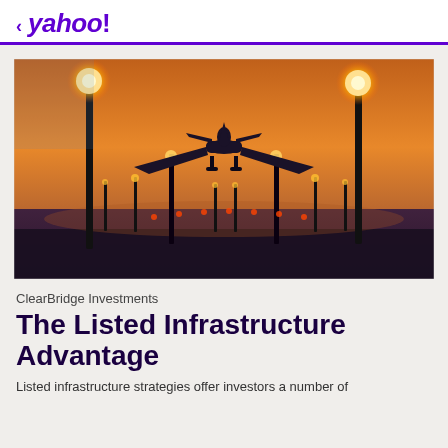< yahoo!
[Figure (photo): Airplane landing at sunset/dusk over a runway lined with tall lamp posts, viewed from behind. Orange and purple sky, airport runway lights visible in background.]
ClearBridge Investments
The Listed Infrastructure Advantage
Listed infrastructure strategies offer investors a number of